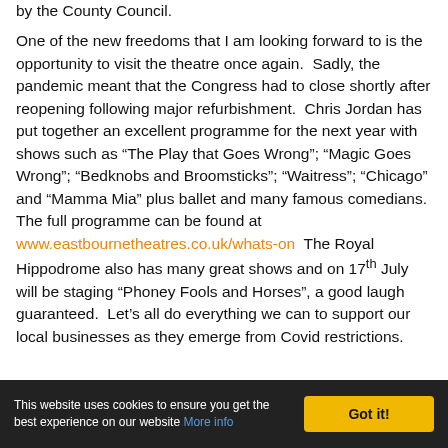by the County Council.
One of the new freedoms that I am looking forward to is the opportunity to visit the theatre once again. Sadly, the pandemic meant that the Congress had to close shortly after reopening following major refurbishment. Chris Jordan has put together an excellent programme for the next year with shows such as “The Play that Goes Wrong”; “Magic Goes Wrong”; “Bedknobs and Broomsticks”; “Waitress”; “Chicago” and “Mamma Mia” plus ballet and many famous comedians. The full programme can be found at www.eastbournetheatres.co.uk/whats-on  The Royal Hippodrome also has many great shows and on 17th July will be staging “Phoney Fools and Horses”, a good laugh guaranteed. Let’s all do everything we can to support our local businesses as they emerge from Covid restrictions.
This website uses cookies to ensure you get the best experience on our website More info  Got it!